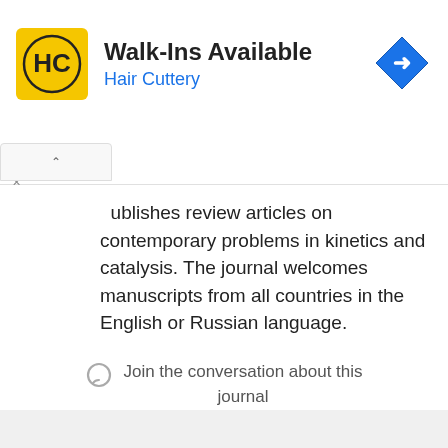[Figure (other): Hair Cuttery advertisement banner with yellow HC logo, 'Walk-Ins Available' heading, 'Hair Cuttery' subtitle in blue, and a blue navigation arrow icon on the right]
ublishes review articles on contemporary problems in kinetics and catalysis. The journal welcomes manuscripts from all countries in the English or Russian language.
Join the conversation about this journal